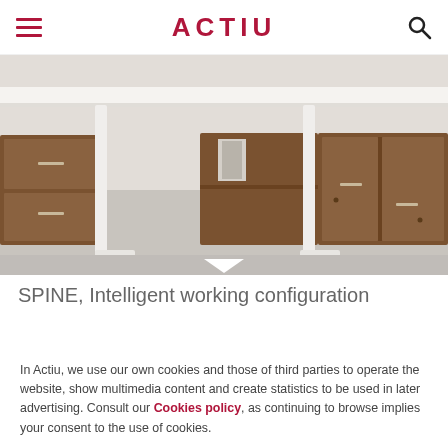ACTIU
[Figure (photo): Office furniture product photo showing the SPINE system - white-framed workstations with walnut-finish storage cabinets, drawers, and shelving units at floor level]
SPINE, Intelligent working configuration
In Actiu, we use our own cookies and those of third parties to operate the website, show multimedia content and create statistics to be used in later advertising. Consult our Cookies policy, as continuing to browse implies your consent to the use of cookies.
I AGREE